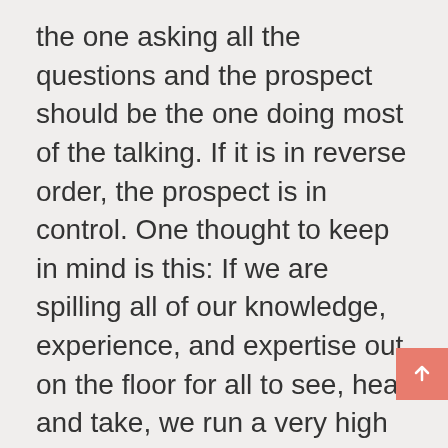the one asking all the questions and the prospect should be the one doing most of the talking. If it is in reverse order, the prospect is in control. One thought to keep in mind is this: If we are spilling all of our knowledge, experience, and expertise out on the floor for all to see, hear and take, we run a very high risk of unpaid consulting. I have yet to meet a sales professional that won a noble peace prize for unpaid consulting — but many still do it.
Last but not least, how did we behave? Did we act like every other salesperson? Do we seem desperate for a sale? Perhaps we talk too much, launch into a presentation too fast or did we ask lame, canned,